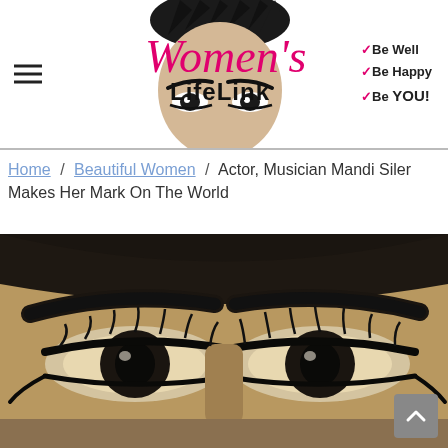[Figure (logo): Women's LifeLink website header banner with logo showing a woman's face, pink cursive 'Women's' text, bold 'LifeLink' text, hamburger menu icon, and tagline 'Be Well / Be Happy / Be YOU!']
Home / Beautiful Women / Actor, Musician Mandi Siler Makes Her Mark On The World
[Figure (photo): Close-up photo of a woman's eyes with heavy black eyeliner and dark eyebrows against a dark background — Mandi Siler]